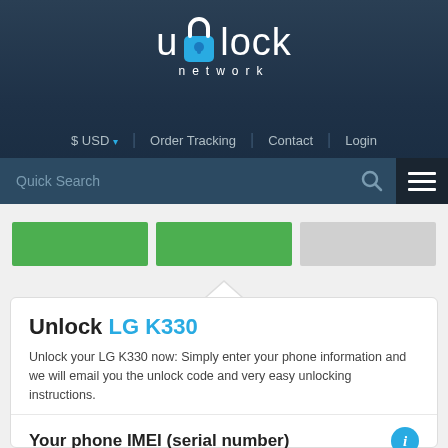[Figure (logo): Unlock Network logo with padlock icon in blue/white on dark blue header background]
$ USD ▾   Order Tracking   Contact   Login
Quick Search
[Figure (screenshot): Three tab/progress bar elements: two green and one gray]
Unlock LG K330
Unlock your LG K330 now: Simply enter your phone information and we will email you the unlock code and very easy unlocking instructions.
Your phone IMEI (serial number)
Phone IMEI number